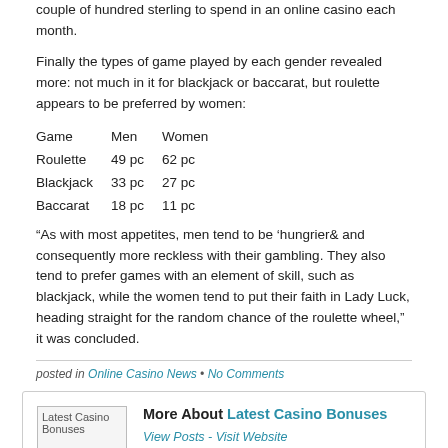couple of hundred sterling to spend in an online casino each month.
Finally the types of game played by each gender revealed more: not much in it for blackjack or baccarat, but roulette appears to be preferred by women:
| Game | Men | Women |
| --- | --- | --- |
| Roulette | 49 pc | 62 pc |
| Blackjack | 33 pc | 27 pc |
| Baccarat | 18 pc | 11 pc |
“As with most appetites, men tend to be ‘hungrier& and consequently more reckless with their gambling. They also tend to prefer games with an element of skill, such as blackjack, while the women tend to put their faith in Lady Luck, heading straight for the random chance of the roulette wheel,” it was concluded.
posted in Online Casino News • No Comments
More About Latest Casino Bonuses
View Posts - Visit Website